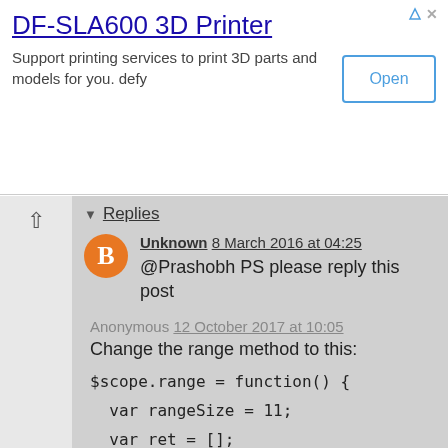[Figure (screenshot): Advertisement banner for DF-SLA600 3D Printer with Open button]
DF-SLA600 3D Printer
Support printing services to print 3D parts and models for you. defy
Replies
Unknown 8 March 2016 at 04:25
@Prashobh PS please reply this post
Anonymous 12 October 2017 at 10:05
Change the range method to this:
$scope.range = function() {
var rangeSize = 11;
var ret = [];
var start;